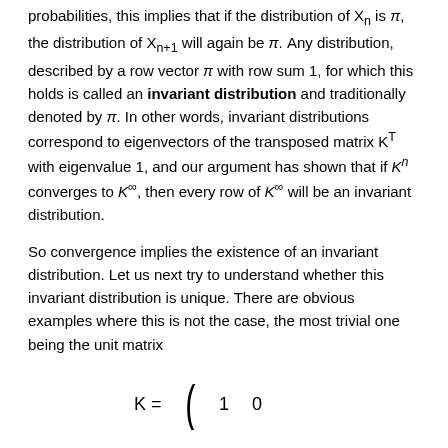probabilities, this implies that if the distribution of X_n is π, the distribution of X_{n+1} will again be π. Any distribution, described by a row vector π with row sum 1, for which this holds is called an invariant distribution and traditionally denoted by π. In other words, invariant distributions correspond to eigenvectors of the transposed matrix K^T with eigenvalue 1, and our argument has shown that if K^n converges to K^∞, then every row of K^∞ will be an invariant distribution.
So convergence implies the existence of an invariant distribution. Let us next try to understand whether this invariant distribution is unique. There are obvious examples where this is not the case, the most trivial one being the unit matrix